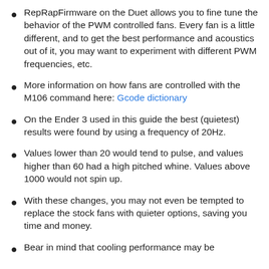RepRapFirmware on the Duet allows you to fine tune the behavior of the PWM controlled fans. Every fan is a little different, and to get the best performance and acoustics out of it, you may want to experiment with different PWM frequencies, etc.
More information on how fans are controlled with the M106 command here: Gcode dictionary
On the Ender 3 used in this guide the best (quietest) results were found by using a frequency of 20Hz.
Values lower than 20 would tend to pulse, and values higher than 60 had a high pitched whine. Values above 1000 would not spin up.
With these changes, you may not even be tempted to replace the stock fans with quieter options, saving you time and money.
Bear in mind that cooling performance may be